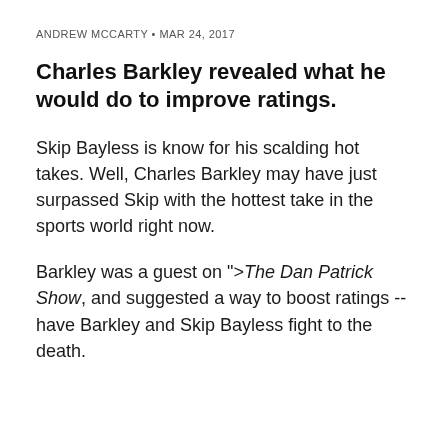ANDREW MCCARTY • MAR 24, 2017
Charles Barkley revealed what he would do to improve ratings.
Skip Bayless is know for his scalding hot takes. Well, Charles Barkley may have just surpassed Skip with the hottest take in the sports world right now.
Barkley was a guest on ">The Dan Patrick Show, and suggested a way to boost ratings -- have Barkley and Skip Bayless fight to the death.